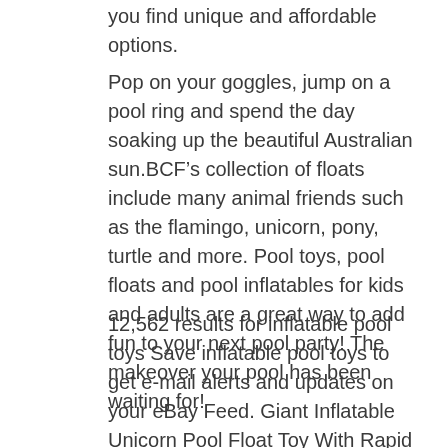you find unique and affordable options.
Pop on your goggles, jump on a pool ring and spend the day soaking up the beautiful Australian sun.BCF’s collection of floats include many animal friends such as the flamingo, unicorn, pony, turtle and more. Pool toys, pool floats and pool inflatables for kids and adults are a great way to add fun to your next pool party! The makeover your pool has been waiting for!
12,562 results for inflatable pool toys Save inflatable pool toys to get e-mail alerts and updates on your eBay Feed. Giant Inflatable Unicorn Pool Float Toy With Rapid Inflation Valves, For Adults Giant Inflatable. Swans arent your thing?